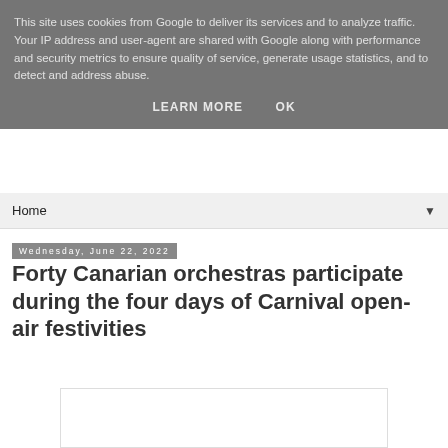This site uses cookies from Google to deliver its services and to analyze traffic. Your IP address and user-agent are shared with Google along with performance and security metrics to ensure quality of service, generate usage statistics, and to detect and address abuse.
LEARN MORE    OK
Home ▼
Wednesday, June 22, 2022
Forty Canarian orchestras participate during the four days of Carnival open-air festivities
[Figure (photo): Blank white image placeholder area below the article title]